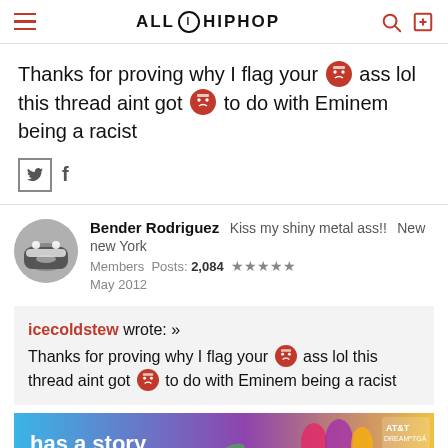ALL HIP HOP
Thanks for proving why I flag your [emoji] ass lol this thread aint got [emoji] to do with Eminem being a racist
[Twitter icon] f
Bender Rodriguez  Kiss my shiny metal ass!!  New new York
Members  Posts: 2,084  ★★★★★
May 2012
icecoldstew wrote: »
Thanks for proving why I flag your [emoji] ass lol this thread aint got [emoji] to do with Eminem being a racist
[Figure (other): AT&T advertisement banner with text 'has a story' and women figures]